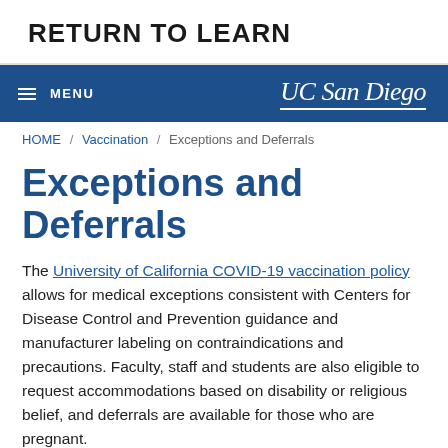RETURN TO LEARN
[Figure (logo): UC San Diego navigation bar with hamburger menu icon and MENU text on the left, and UC San Diego logo on the right, on a dark blue background]
HOME / Vaccination / Exceptions and Deferrals
Exceptions and Deferrals
The University of California COVID-19 vaccination policy allows for medical exceptions consistent with Centers for Disease Control and Prevention guidance and manufacturer labeling on contraindications and precautions. Faculty, staff and students are also eligible to request accommodations based on disability or religious belief, and deferrals are available for those who are pregnant.
The vaccine mandate overview is available in Spanish